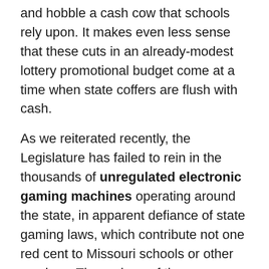and hobble a cash cow that schools rely upon. It makes even less sense that these cuts in an already-modest lottery promotional budget come at a time when state coffers are flush with cash.
As we reiterated recently, the Legislature has failed to rein in the thousands of unregulated electronic gaming machines operating around the state, in apparent defiance of state gaming laws, which contribute not one red cent to Missouri schools or other services. The makers of those machines do, however, contribute heavily to the lawmakers who keep letting them operate — and who are, at the same time, making it harder for the lottery to compete with them. What are the betting odds that's a coincidence?
https://www.stltoday.com/opinion/editorial/editorial-missouri-lawmakers-gut-lotterys-ad-budget-even-as-they-enable-unregulated-